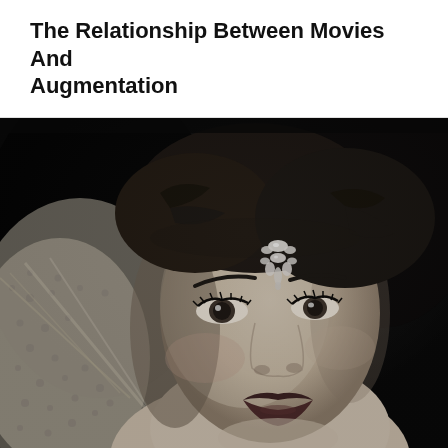The Relationship Between Movies And Augmentation
[Figure (photo): Black and white portrait photograph of a glamorous woman with dark hair, wearing a jeweled hair ornament on her forehead, with dramatic eye makeup, against a dark background. She appears to be a classic Hollywood actress.]